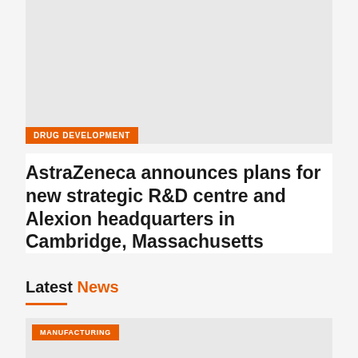[Figure (photo): Large image card with DRUG DEVELOPMENT badge at bottom left]
AstraZeneca announces plans for new strategic R&D centre and Alexion headquarters in Cambridge, Massachusetts
Latest News
[Figure (photo): News card image with MANUFACTURING badge]